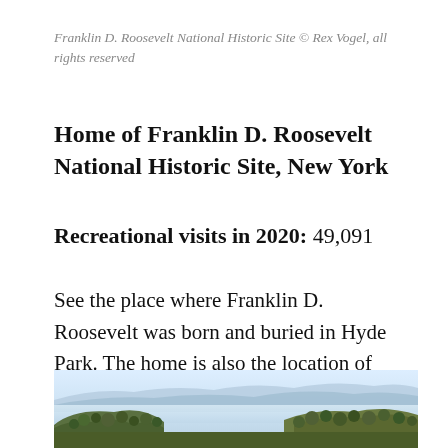Franklin D. Roosevelt National Historic Site © Rex Vogel, all rights reserved
Home of Franklin D. Roosevelt National Historic Site, New York
Recreational visits in 2020: 49,091
See the place where Franklin D. Roosevelt was born and buried in Hyde Park. The home is also the location of the first presidential library.
[Figure (photo): Landscape photo showing a scenic view with mountains, hills covered with trees and shrubs in the foreground, and a misty valley or water body in the background under a pale sky.]